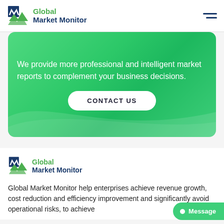Global Market Monitor
[Figure (logo): Global Market Monitor logo with blue and green M icon]
We provide more professional and intelligent market reports to complement your business decisions.
CONTACT US
[Figure (logo): Global Market Monitor logo (bottom section)]
Global Market Monitor help enterprises achieve revenue growth, cost reduction and efficiency improvement and significantly avoid operational risks, to achieve